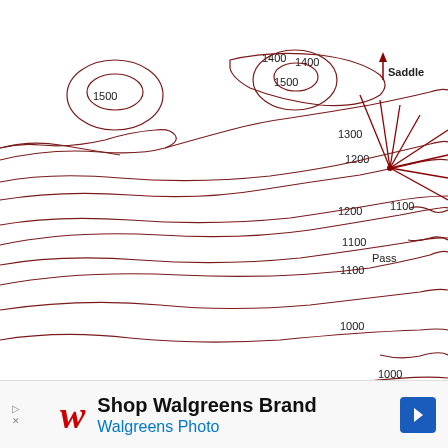[Figure (map): Topographic contour map illustrating saddles and passes. Contour lines labeled with elevations: 900, 1000, 1100, 1200, 1300, 1400, 1500 (meters or feet). Two hill peaks shown with closed contours on the left half. A Saddle label with red upward arrow is marked between the two peaks around elevation 1300. A Pass label is marked on the right side where contours converge at a point, with red lines radiating outward from the pass point. Contour lines are dark red/maroon.]
contours diagram saddles and passes